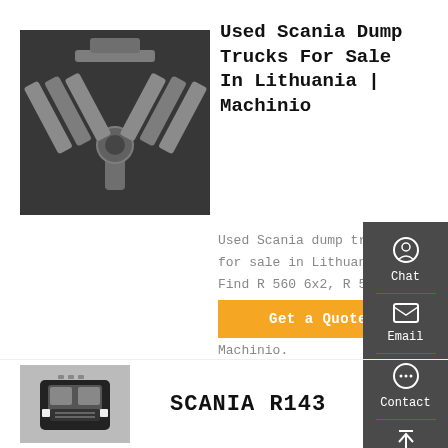[Figure (photo): Close-up photo of a Scania truck engine/drivetrain components viewed from below, showing V-shaped mechanical parts in gray metal]
Used Scania Dump Trucks For Sale In Lithuania | Machinio
Used Scania dump trucks for sale in Lithuania. Find R 560 6x2, R 500 6x2, and more Scania dump trucks for sale at Machinio.
Get a Quote
[Figure (photo): Partial view of a black Scania R143 truck cab front]
SCANIA R143